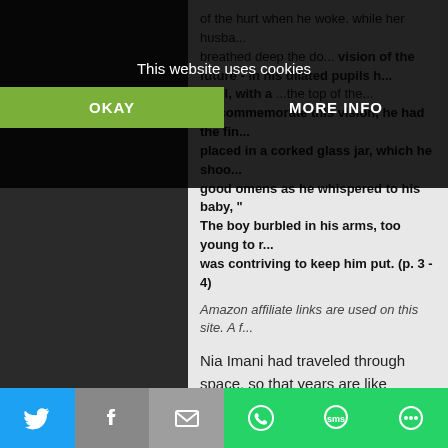This website uses cookies
OKAY  MORE INFO
of the hurt when he woke. while her husba... breathed deep the do... vision of the future - in his dilated pupils h... erful, with a ... the top of the...
To commemorate this vision, he had the fin... placed in a corked glass jar, which he shoo... good omens as he whispered to his baby, "... The boy burbled in his arms, too young to r... was contriving to keep him put. (p. 3 - 4)
Amazon affiliate links are used on this site. A f...
Nia Imani had traveled through space, so that years are like months. Friends and lovers continued to age, so all she had left was work and the next paycheck. When she meets a boy that fell out of the sky, he doesn't speak. He communicates via the music he plays on an old wooden flute.
BLOG ARCHIVE
► 2022 (243)
[Figure (other): Share buttons bar: Twitter (blue), Facebook (gray), Email (gray), WhatsApp (green), SMS (green), Other (green)]